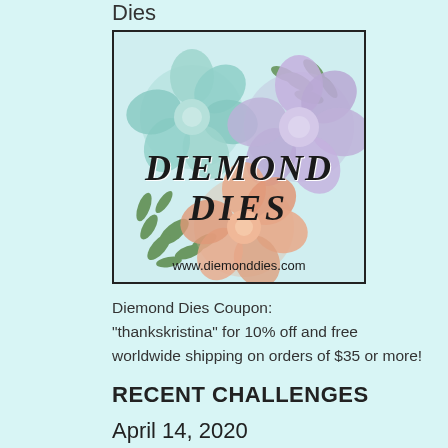Dies
[Figure (logo): Diemond Dies logo with flower arrangement (teal, lavender, peach paper flowers with green foliage) and text 'DIEMOND DIES' with website www.diemonddies.com]
Diemond Dies Coupon:
"thankskristina" for 10% off and free worldwide shipping on orders of $35 or more!
RECENT CHALLENGES
April 14, 2020
[Figure (photo): Partial view of a dark purple/violet background image with white text partially visible at the bottom of the page]